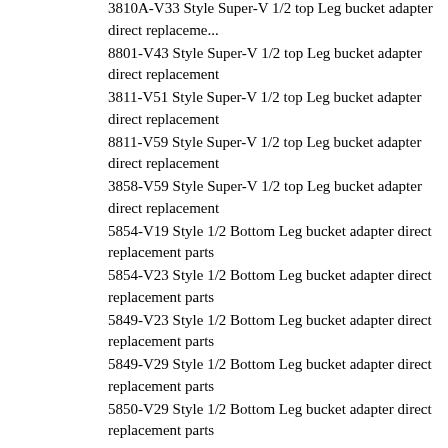3810A-V33 Style Super-V 1/2 top Leg bucket adapter direct replacement
8801-V43 Style Super-V 1/2 top Leg bucket adapter direct replacement
3811-V51 Style Super-V 1/2 top Leg bucket adapter direct replacement
8811-V59 Style Super-V 1/2 top Leg bucket adapter direct replacement
3858-V59 Style Super-V 1/2 top Leg bucket adapter direct replacement
5854-V19 Style 1/2 Bottom Leg bucket adapter direct replacement parts
5854-V23 Style 1/2 Bottom Leg bucket adapter direct replacement parts
5849-V23 Style 1/2 Bottom Leg bucket adapter direct replacement parts
5849-V29 Style 1/2 Bottom Leg bucket adapter direct replacement parts
5850-V29 Style 1/2 Bottom Leg bucket adapter direct replacement parts
5855-V33 Style 1/2 Bottom Leg bucket adapter direct replacement parts
5856-V39 Style 1/2 Bottom Leg bucket adapter direct replacement parts
5856-V43 Style 1/2 Bottom Leg bucket adapter direct replacement parts
5857A-V51 Style 1/2 Bottom Leg bucket adapter direct replacement par
5857A-V59 Style 1/2 Bottom Leg bucket adapter direct replacement par
61E7-0100 Hyundai style weld-on bucket adapter direct replacment par
Hyundai style weld-on bucket adapter direct replacment parts used for R
Below related Hyundai spare parts are also available.
E161-3027 Hyundai bucket teeth direct replacement parts